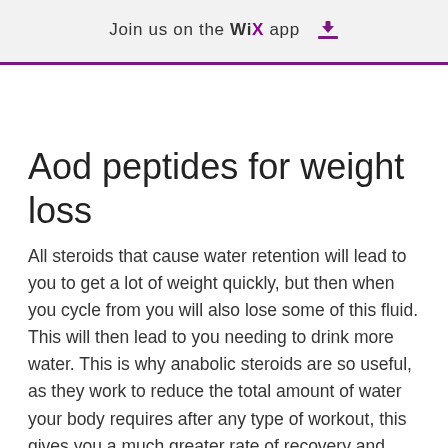Join us on the WiX app ⬇
Aod peptides for weight loss
All steroids that cause water retention will lead to you to get a lot of weight quickly, but then when you cycle from you will also lose some of this fluid. This will then lead to you needing to drink more water. This is why anabolic steroids are so useful, as they work to reduce the total amount of water your body requires after any type of workout, this gives you a much greater rate of recovery and leads to bigger gains, which sarm for fat loss. However, these effects are temporary and can cause a period of water retention